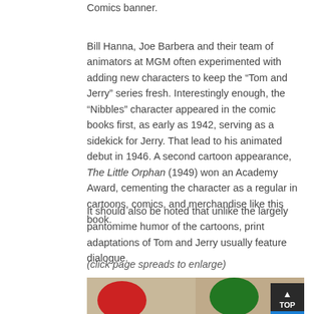Comics banner.
Bill Hanna, Joe Barbera and their team of animators at MGM often experimented with adding new characters to keep the “Tom and Jerry” series fresh. Interestingly enough, the “Nibbles” character appeared in the comic books first, as early as 1942, serving as a sidekick for Jerry. That lead to his animated debut in 1946. A second cartoon appearance, The Little Orphan (1949) won an Academy Award, cementing the character as a regular in cartoons, comics, and merchandise like this book.
It should also be noted that unlike the largely pantomime humor of the cartoons, print adaptations of Tom and Jerry usually feature dialogue.
(click page spreads to enlarge)
[Figure (photo): Open comic book spread showing Tom and Jerry characters. Left page has red circular background with Tom and a small mouse (Nibbles). Right page has green circular background with Jerry and Nibbles.]